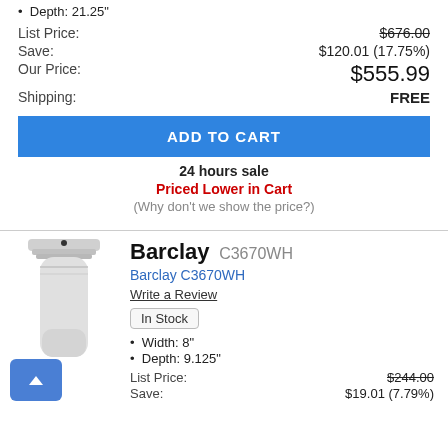Depth: 21.25"
List Price: $676.00 (strikethrough)
Save: $120.01 (17.75%)
Our Price: $555.99
Shipping: FREE
ADD TO CART
24 hours sale
Priced Lower in Cart
(Why don't we show the price?)
[Figure (photo): White cylindrical toilet/fixture product image]
Barclay C3670WH
Barclay C3670WH
Write a Review
In Stock
Width: 8"
Depth: 9.125"
List Price: $244.00 (strikethrough)
Save: $19.01 (7.79%)